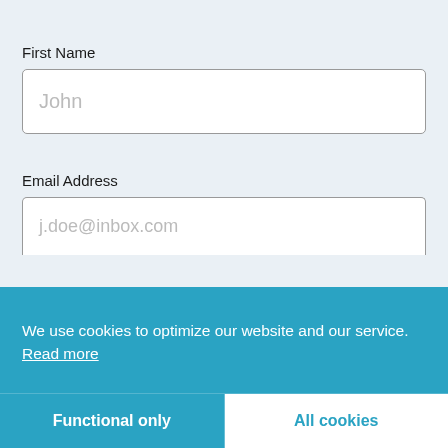First Name
John
Email Address
j.doe@inbox.com
We use cookies to optimize our website and our service.  Read more
Functional only
All cookies